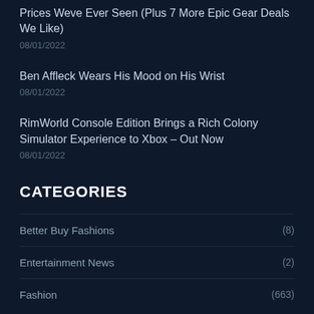Prices Weve Ever Seen (Plus 7 More Epic Gear Deals We Like)
08/01/2022
Ben Affleck Wears His Mood on His Wrist
08/01/2022
RimWorld Console Edition Brings a Rich Colony Simulator Experience to Xbox – Out Now
08/01/2022
CATEGORIES
Better Buy Fashions (8)
Entertainment News (2)
Fashion (663)